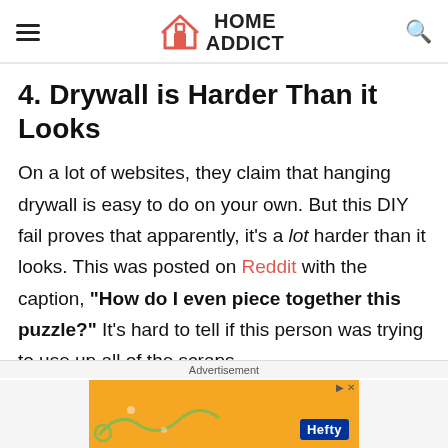HOME ADDICT
4. Drywall is Harder Than it Looks
On a lot of websites, they claim that hanging drywall is easy to do on your own. But this DIY fail proves that apparently, it's a lot harder than it looks. This was posted on Reddit with the caption, “How do I even piece together this puzzle?” It’s hard to tell if this person was trying to use up all of the scraps
Advertisement
[Figure (other): Advertisement banner with orange background showing Hefty brand logo and a partial image of a product]